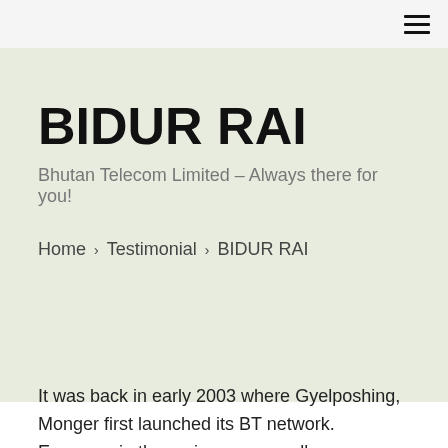≡
BIDUR RAI
Bhutan Telecom Limited – Always there for you!
Home › Testimonial › BIDUR RAI
It was back in early 2003 where Gyelposhing, Monger first launched its BT network. Everyone in the region was equally